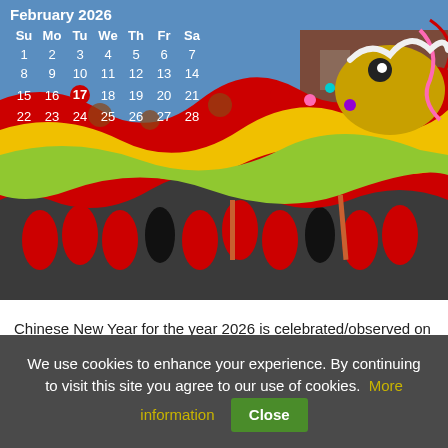[Figure (photo): Chinese New Year dragon dance parade photo with calendar overlay showing February 2026, with the 17th highlighted in red circle]
Chinese New Year for the year 2026 is celebrated/observed on Tuesday, February 17th. This year the
We use cookies to enhance your experience. By continuing to visit this site you agree to our use of cookies. More information Close